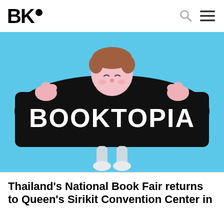BK•
[Figure (illustration): Cartoon illustration of a person peeking over a large black banner reading 'BOOKTOPIA' in white hand-lettered text, set against a bright blue background. The character has pink skin, brown hair, and grey shoes.]
Thailand's National Book Fair returns to Queen's Sirikit Convention Center in